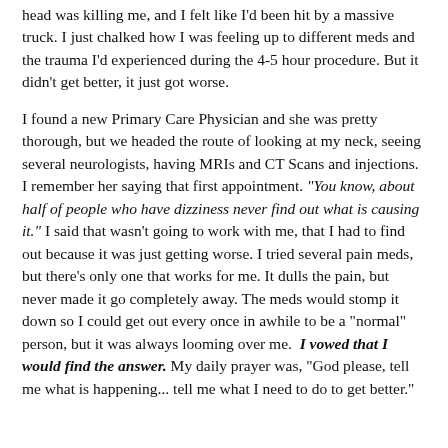head was killing me, and I felt like I'd been hit by a massive truck. I just chalked how I was feeling up to different meds and the trauma I'd experienced during the 4-5 hour procedure. But it didn't get better, it just got worse.
I found a new Primary Care Physician and she was pretty thorough, but we headed the route of looking at my neck, seeing several neurologists, having MRIs and CT Scans and injections. I remember her saying that first appointment. "You know, about half of people who have dizziness never find out what is causing it." I said that wasn't going to work with me, that I had to find out because it was just getting worse. I tried several pain meds, but there's only one that works for me. It dulls the pain, but never made it go completely away. The meds would stomp it down so I could get out every once in awhile to be a "normal" person, but it was always looming over me. I vowed that I would find the answer. My daily prayer was, "God please, tell me what is happening... tell me what I need to do to get better."